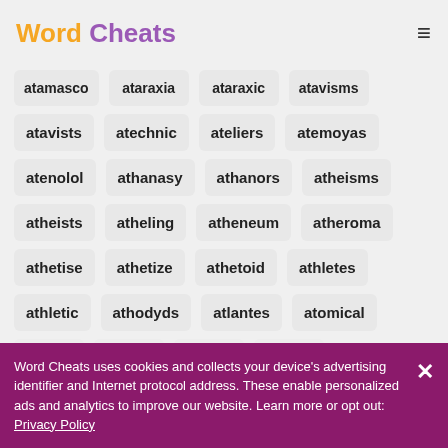Word Cheats
atamasco
ataraxia
ataraxic
atavisms
atavists
atechnic
ateliers
atemoyas
atenolol
athanasy
athanors
atheisms
atheists
atheling
atheneum
atheroma
athetise
athetize
athetoid
athletes
athletic
athodyds
atlantes
atomical
Word Cheats uses cookies and collects your device's advertising identifier and Internet protocol address. These enable personalized ads and analytics to improve our website. Learn more or opt out: Privacy Policy